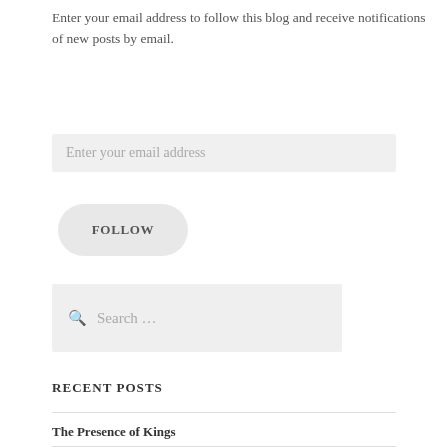Enter your email address to follow this blog and receive notifications of new posts by email.
[Figure (screenshot): Email input field with placeholder text 'Enter your email address']
[Figure (screenshot): Follow button with rounded rectangle shape]
[Figure (screenshot): Search box with magnifying glass icon and placeholder text 'Search ...']
RECENT POSTS
The Presence of Kings